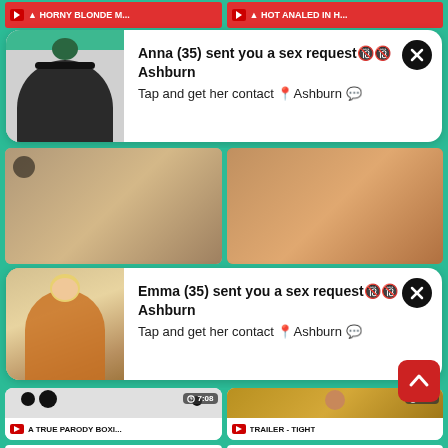[Figure (screenshot): Top partial red banner strips showing truncated video titles]
[Figure (screenshot): Notification card 1: Anna (35) sent you a sex request Ashburn - Tap and get her contact Ashburn with close button and female silhouette thumbnail]
[Figure (screenshot): Notification card 2: Emma (35) sent you a sex request Ashburn - Tap and get her contact Ashburn with close button and female photo thumbnail]
[Figure (screenshot): Video thumbnail card: A TRUE PARODY BOXI... with timestamp 7:08, showing blurred/censored thumbnail with black circles]
[Figure (screenshot): Video thumbnail card: TRAILER - TIGHT with timestamp 1:59, showing man in yellow floral shirt]
[Figure (screenshot): Bottom partial thumbnail row, partially cut off]
[Figure (screenshot): Red scroll-to-top button with upward arrow in bottom right corner]